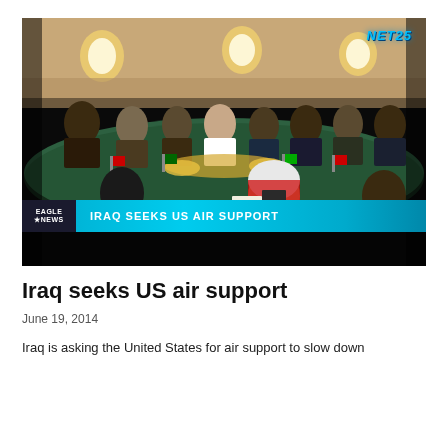[Figure (screenshot): Television news screenshot from NET25 showing a diplomatic meeting with delegates seated around a large green conference table with flags. A lower-third ticker bar reads 'IRAQ SEEKS US AIR SUPPORT' with Eagle News logo.]
Iraq seeks US air support
June 19, 2014
Iraq is asking the United States for air support to slow down